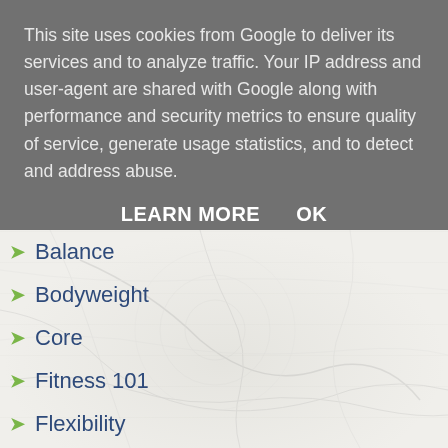This site uses cookies from Google to deliver its services and to analyze traffic. Your IP address and user-agent are shared with Google along with performance and security metrics to ensure quality of service, generate usage statistics, and to detect and address abuse.
LEARN MORE    OK
Balance
Bodyweight
Core
Fitness 101
Flexibility
Goals